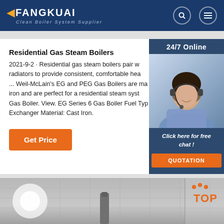FANGKUAI Clean Boiler System Supplier
Residential Gas Steam Boilers
2021-9-2 · Residential gas steam boilers pair w radiators to provide consistent, comfortable hea ... Weil-McLain's EG and PEG Gas Boilers are ma iron and are perfect for a residential steam syst Gas Boiler. View. EG Series 6 Gas Boiler Fuel Typ Exchanger Material: Cast Iron.
[Figure (photo): Customer service agent woman with headset smiling, with 24/7 Online badge and Click here for free chat! text and QUOTATION button on dark blue background]
[Figure (photo): Industrial boiler or manufacturing facility interior, bottom strip image]